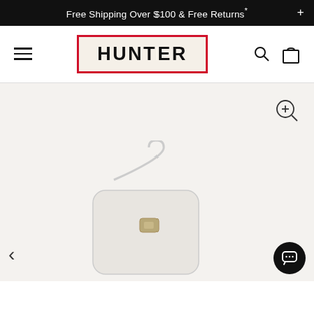Free Shipping Over $100 & Free Returns*
[Figure (logo): Hunter brand logo — bold black text 'HUNTER' on cream background with red border]
[Figure (photo): Product photo showing a white/light grey Hunter brand bag on a light background. A zoom-in magnifier icon is visible in the top right corner. Left and right navigation arrows are present at the bottom, along with a chat bubble icon in the bottom right.]